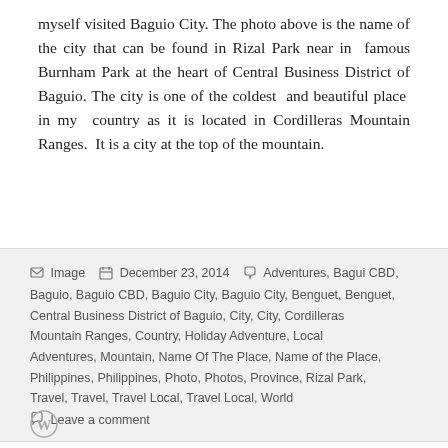myself visited Baguio City. The photo above is the name of the city that can be found in Rizal Park near in famous Burnham Park at the heart of Central Business District of Baguio. The city is one of the coldest and beautiful place in my country as it is located in Cordilleras Mountain Ranges. It is a city at the top of the mountain.
Image  December 23, 2014  Adventures, Bagui CBD, Baguio, Baguio CBD, Baguio City, Baguio City, Benguet, Benguet, Central Business District of Baguio, City, City, Cordilleras Mountain Ranges, Country, Holiday Adventure, Local Adventures, Mountain, Name Of The Place, Name of the Place, Philippines, Philippines, Photo, Photos, Province, Rizal Park, Travel, Travel, Travel Local, Travel Local, World
Leave a comment
[Figure (logo): WordPress logo circle W]